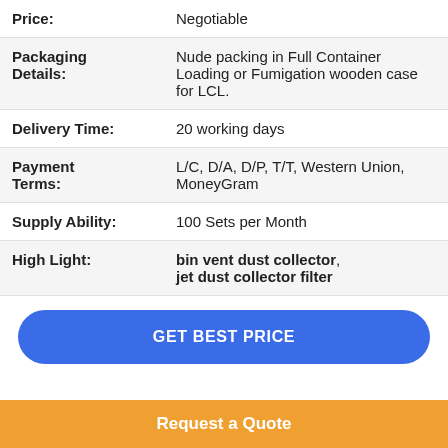| Price: | Negotiable |
| Packaging Details: | Nude packing in Full Container Loading or Fumigation wooden case for LCL. |
| Delivery Time: | 20 working days |
| Payment Terms: | L/C, D/A, D/P, T/T, Western Union, MoneyGram |
| Supply Ability: | 100 Sets per Month |
| High Light: | bin vent dust collector, jet dust collector filter |
GET BEST PRICE
Request a Quote